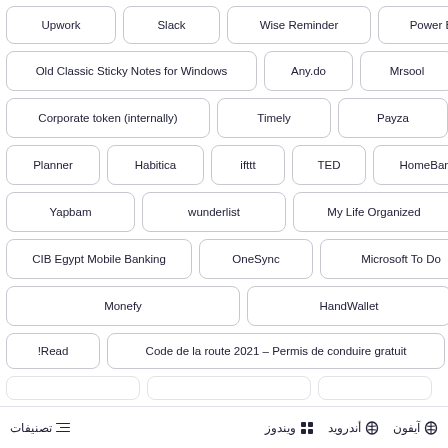Upwork
Slack
Wise Reminder
Power BI
Old Classic Sticky Notes for Windows
Any.do
Mrsool
Corporate token (internally)
Timely
Payza
Planner
Habitica
ifttt
TED
HomeBank
Yapbam
wunderlist
My Life Organized
CIB Egypt Mobile Banking
OneSync
Microsoft To Do
Monefy
HandWallet
!Read
Code de la route 2021 – Permis de conduire gratuit
ويندوز  أندرويد  آيفون  تصنيفات